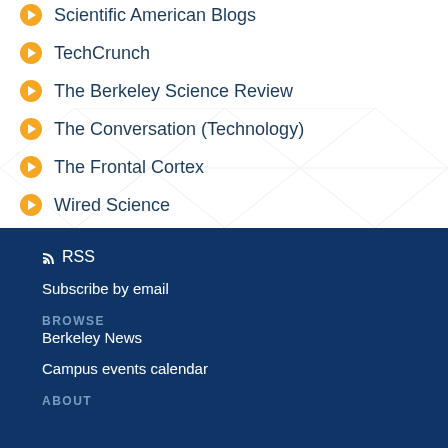Scientific American Blogs
TechCrunch
The Berkeley Science Review
The Conversation (Technology)
The Frontal Cortex
Wired Science
RSS
Subscribe by email
BROWSE
Berkeley News
Campus events calendar
ABOUT